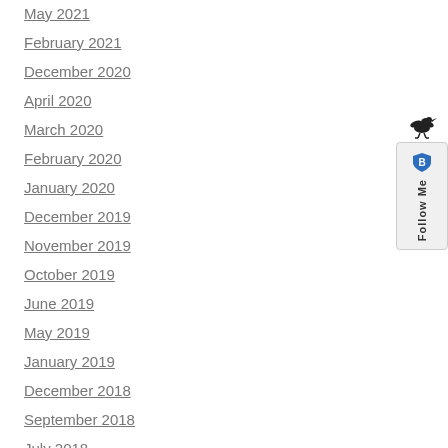May 2021
February 2021
December 2020
April 2020
March 2020
February 2020
January 2020
December 2019
November 2019
October 2019
June 2019
May 2019
January 2019
December 2018
September 2018
July 2018
June 2018
April 2018
March 2018
[Figure (illustration): Twitter Follow Me badge with bird icon and shield logo, rotated vertically on the right side of the page]